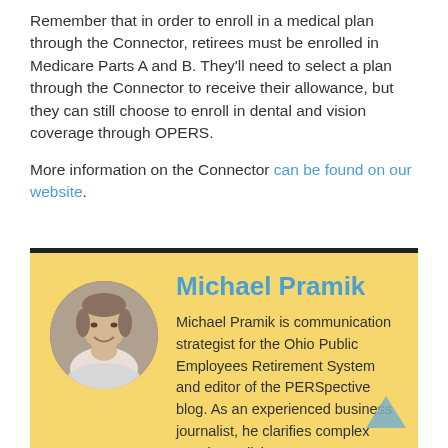Remember that in order to enroll in a medical plan through the Connector, retirees must be enrolled in Medicare Parts A and B. They'll need to select a plan through the Connector to receive their allowance, but they can still choose to enroll in dental and vision coverage through OPERS.
More information on the Connector can be found on our website.
[Figure (photo): Circular headshot photo of Michael Pramik, a middle-aged man smiling]
Michael Pramik
Michael Pramik is communication strategist for the Ohio Public Employees Retirement System and editor of the PERSpective blog. As an experienced business journalist, he clarifies complex pension policies